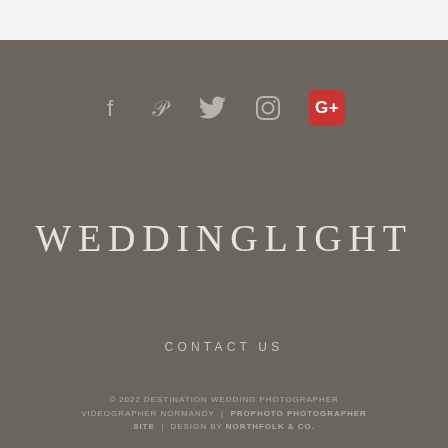[Figure (infographic): Row of social media icons: Facebook (f), Pinterest (p), Twitter bird, Instagram, Google+ (red rounded square with G+)]
WEDDINGLIGHT
CONTACT US
© 2022 DESTINATION WEDDING PHOTOGRAPHER VIDEOGRAPHER NORMANDY | PROPHOTO PHOTOGRAPHER SITE | DESIGN BY NORTHFOLK & CO.